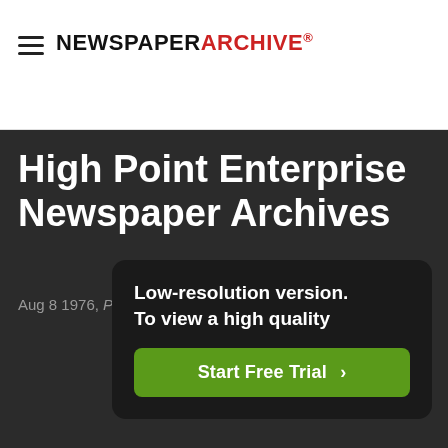[Figure (logo): NewspaperArchive logo with hamburger menu icon]
Start Free Trial
Sign in
High Point Enterprise Newspaper Archives
Aug 8 1976, Page 31
ShowHid...
Low-resolution version. To view a high quality
Start Free Trial >